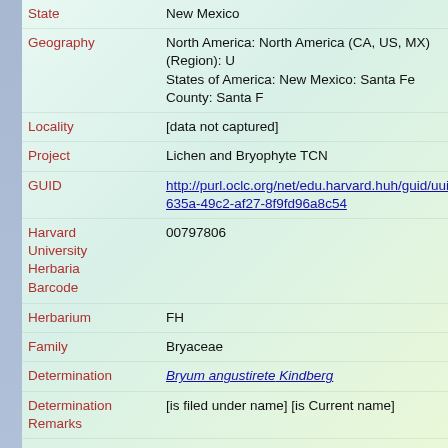| Field | Value |
| --- | --- |
| State | New Mexico |
| Geography | North America: North America (CA, US, MX) (Region): United States of America: New Mexico: Santa Fe County: Santa Fe |
| Locality | [data not captured] |
| Project | Lichen and Bryophyte TCN |
| GUID | http://purl.oclc.org/net/edu.harvard.huh/guid/uuid/50f...635a-49c2-af27-8f9fd96a8c54 |
| Harvard University Herbaria Barcode | 00797806 |
| Herbarium | FH |
| Family | Bryaceae |
| Determination | Bryum angustirete Kindberg |
| Determination Remarks | [is filed under name] [is Current name] |
| Sex | not determined |
| Phenology | NotDetermined |
| Preparation Type | Packet |
| Preparation Method | Dried |